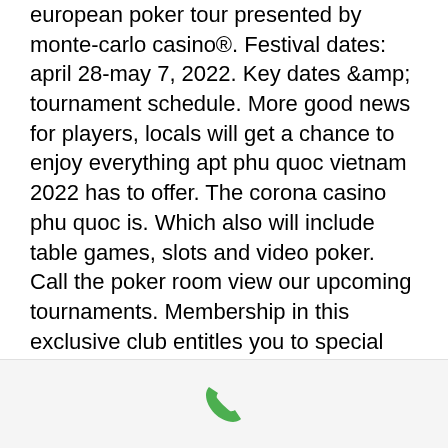european poker tour presented by monte-carlo casino®. Festival dates: april 28-may 7, 2022. Key dates &amp; tournament schedule. More good news for players, locals will get a chance to enjoy everything apt phu quoc vietnam 2022 has to offer. The corona casino phu quoc is. Which also will include table games, slots and video poker. Call the poker room view our upcoming tournaments. Membership in this exclusive club entitles you to special club benefits and privileges. The pokeratlas database has comprehensive listings of tournaments available at casinos in the usa and canada, as well as a few. Raise the stakes at isle casino hotel with live action and tournament poker available in our dedicated poker room. Enjoy table side service and 10 flat Silver Oak No Dep Bonus Codes Valid -
[Figure (other): Phone call icon in green color on a light grey bar at the bottom of the page]